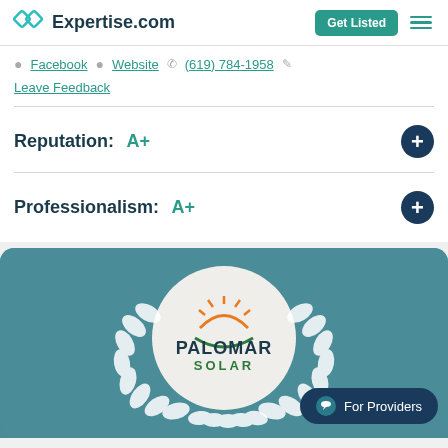Expertise.com
Facebook  Website  (619) 784-1958
Leave Feedback
Reputation:  A+
Professionalism:  A+
[Figure (logo): Palomar Solar logo inside a white circle with white laurel wreath on teal background, with For Providers chat button]